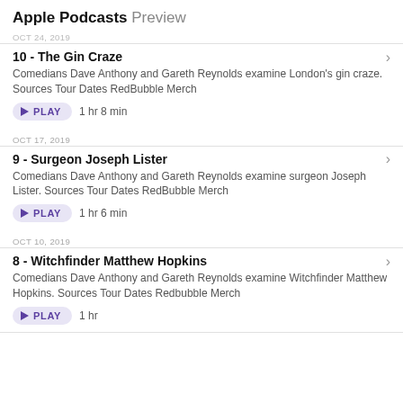Apple Podcasts Preview
OCT 24, 2019
10 - The Gin Craze
Comedians Dave Anthony and Gareth Reynolds examine London's gin craze. Sources Tour Dates RedBubble Merch
PLAY  1 hr 8 min
OCT 17, 2019
9 - Surgeon Joseph Lister
Comedians Dave Anthony and Gareth Reynolds examine surgeon Joseph Lister. Sources Tour Dates RedBubble Merch
PLAY  1 hr 6 min
OCT 10, 2019
8 - Witchfinder Matthew Hopkins
Comedians Dave Anthony and Gareth Reynolds examine Witchfinder Matthew Hopkins. Sources Tour Dates Redbubble Merch
PLAY  1 hr